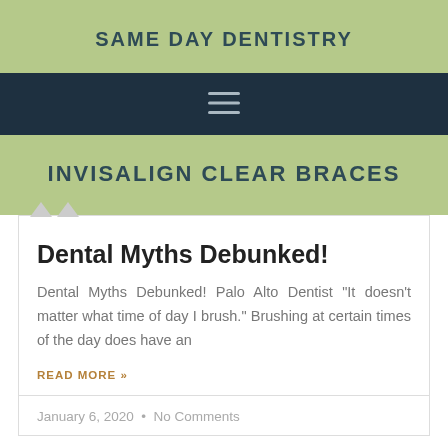SAME DAY DENTISTRY
[Figure (other): Hamburger navigation menu icon (three horizontal lines) on dark navy background]
INVISALIGN CLEAR BRACES
Dental Myths Debunked!
Dental Myths Debunked! Palo Alto Dentist “It doesn’t matter what time of day I brush.” Brushing at certain times of the day does have an
READ MORE »
January 6, 2020 • No Comments